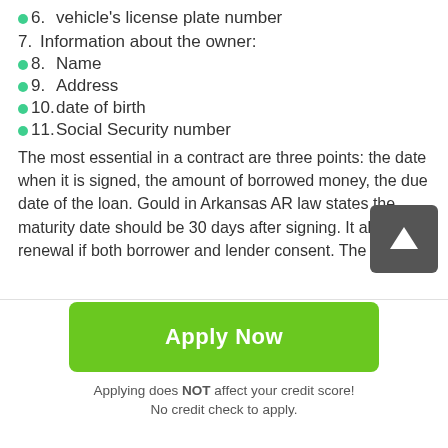6. vehicle's license plate number
7. Information about the owner:
8. Name
9. Address
10. date of birth
11. Social Security number
The most essential in a contract are three points: the date when it is signed, the amount of borrowed money, the due date of the loan. Gould in Arkansas AR law states the maturity date should be 30 days after signing. It allow renewal if both borrower and lender consent. The
Apply Now
Applying does NOT affect your credit score!
No credit check to apply.